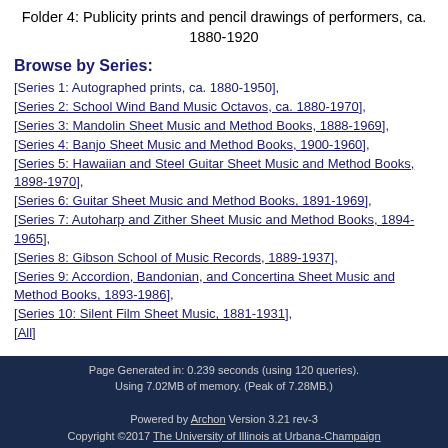Folder 4: Publicity prints and pencil drawings of performers, ca. 1880-1920
Browse by Series:
[Series 1: Autographed prints, ca. 1880-1950],
[Series 2: School Wind Band Music Octavos, ca. 1880-1970],
[Series 3: Mandolin Sheet Music and Method Books, 1888-1969],
[Series 4: Banjo Sheet Music and Method Books, 1900-1960],
[Series 5: Hawaiian and Steel Guitar Sheet Music and Method Books, 1898-1970],
[Series 6: Guitar Sheet Music and Method Books, 1891-1969],
[Series 7: Autoharp and Zither Sheet Music and Method Books, 1894-1965],
[Series 8: Gibson School of Music Records, 1889-1937],
[Series 9: Accordion, Bandonian, and Concertina Sheet Music and Method Books, 1893-1986],
[Series 10: Silent Film Sheet Music, 1881-1931],
[All]
Log In (Staff)
University of Illinois Archives
Contact Us: Email Form
Page Generated in: 0.239 seconds (using 120 queries). Using 7.02MB of memory. (Peak of 7.28MB.) Powered by Archon Version 3.21 rev-3 Copyright ©2017 The University of Illinois at Urbana-Champaign